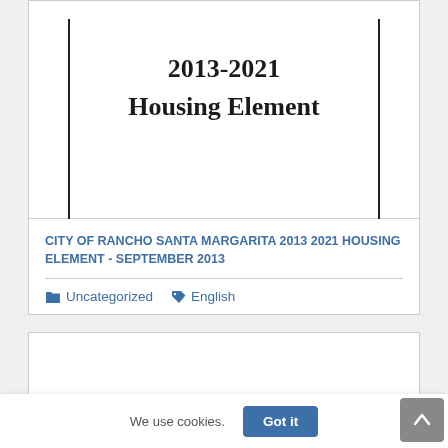[Figure (illustration): Cover image area of a document showing bold text '2013-2021 Housing Element' on white background with vertical black border lines on left and right sides]
CITY OF RANCHO SANTA MARGARITA 2013 2021 HOUSING ELEMENT - SEPTEMBER 2013
Uncategorized   English